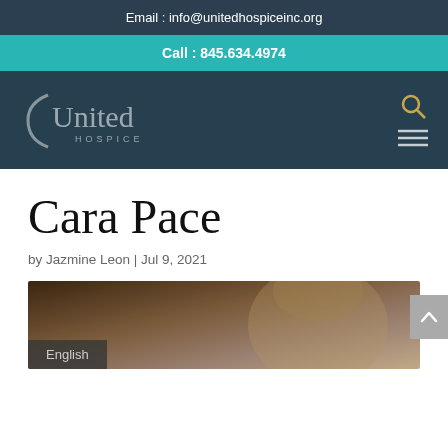Email : info@unitedhospiceinc.org
Call : 845.634.4974
[Figure (logo): United Hospice logo with crescent bracket and text]
Cara Pace
by Jazmine Leon | Jul 9, 2021
[Figure (photo): Photo of Cara Pace with English language badge overlay]